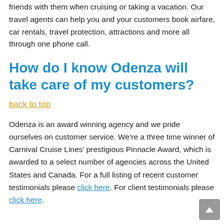friends with them when cruising or taking a vacation. Our travel agents can help you and your customers book airfare, car rentals, travel protection, attractions and more all through one phone call.
How do I know Odenza will take care of my customers? back to top
Odenza is an award winning agency and we pride ourselves on customer service. We’re a three time winner of Carnival Cruise Lines’ prestigious Pinnacle Award, which is awarded to a select number of agencies across the United States and Canada. For a full listing of recent customer testimonials please click here. For client testimonials please click here.